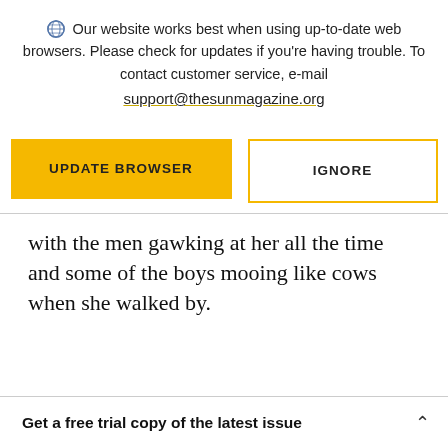Our website works best when using up-to-date web browsers. Please check for updates if you're having trouble. To contact customer service, e-mail support@thesunmagazine.org
[Figure (other): Two buttons: a yellow filled button labeled UPDATE BROWSER and a white button with yellow border labeled IGNORE]
with the men gawking at her all the time and some of the boys mooing like cows when she walked by.
Get a free trial copy of the latest issue